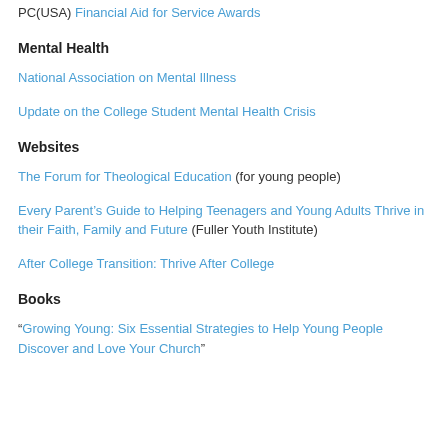PC(USA) Financial Aid for Service Awards
Mental Health
National Association on Mental Illness
Update on the College Student Mental Health Crisis
Websites
The Forum for Theological Education (for young people)
Every Parent's Guide to Helping Teenagers and Young Adults Thrive in their Faith, Family and Future (Fuller Youth Institute)
After College Transition: Thrive After College
Books
“Growing Young: Six Essential Strategies to Help Young People Discover and Love Your Church”